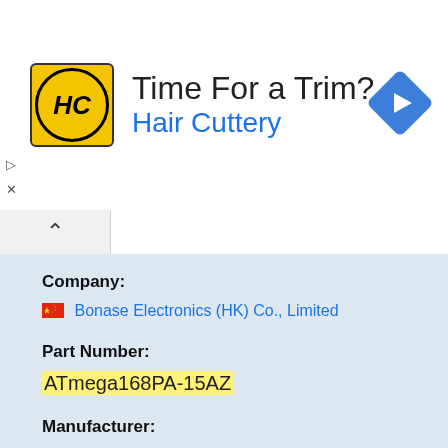[Figure (logo): Hair Cuttery advertisement banner with HC logo, 'Time For a Trim?' heading, 'Hair Cuttery' subtitle in blue, and a blue navigation diamond icon on the right]
Company:
🇨🇳 Bonase Electronics (HK) Co., Limited
Part Number:
ATmega168PA-15AZ
Manufacturer:
VAC
Quantity: